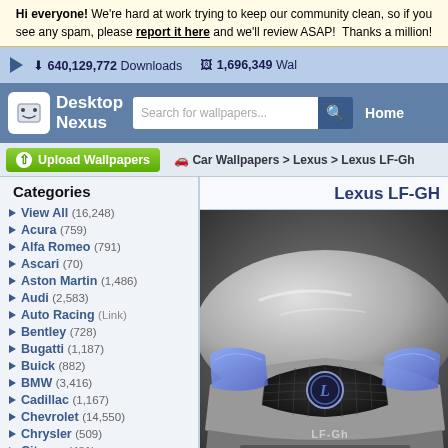Hi everyone! We're hard at work trying to keep our community clean, so if you see any spam, please report it here and we'll review ASAP! Thanks a million!
640,129,772 Downloads   1,696,349 Wallpapers
[Figure (screenshot): Desktop Nexus website header with logo, search bar, and Home link]
Upload Wallpapers
Car Wallpapers > Lexus > Lexus LF-Gh
Categories
View All (16,248)
Acura (759)
Alfa Romeo (791)
Ascari (70)
Aston Martin (1,486)
Audi (2,583)
Auto Racing (Link)
Bentley (728)
Bugatti (1,187)
Buick (882)
BMW (3,416)
Cadillac (1,167)
Chevrolet (14,550)
Chrysler (509)
Citroen (481)
Lexus LF-GH
[Figure (photo): Lexus LF-Gh concept car front view, silver/chrome finish, showing grille with Lexus logo and LF-Gh badge]